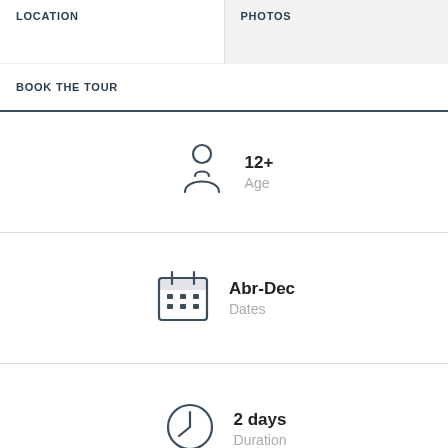LOCATION
PHOTOS
BOOK THE TOUR
[Figure (illustration): Person/user silhouette icon]
12+
Age
[Figure (illustration): Calendar icon]
Abr-Dec
Dates
[Figure (illustration): Clock/time icon]
2 days
Duration